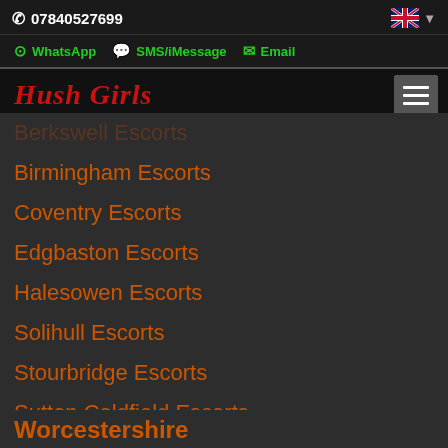07840527699
WhatsApp  SMS/iMessage  Email
Hush Girls
Berkswell Escorts
Birmingham Escorts
Coventry Escorts
Edgbaston Escorts
Halesowen Escorts
Solihull Escorts
Stourbridge Escorts
Sutton Coldfield Escorts
Walsall Escorts
Walverhampton Escorts
Worcestershire